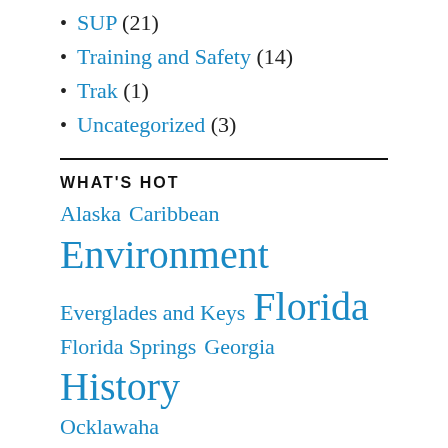SUP (21)
Training and Safety (14)
Trak (1)
Uncategorized (3)
WHAT'S HOT
Alaska Caribbean Environment Everglades and Keys Florida Florida Springs Georgia History Ocklawaha Paddling